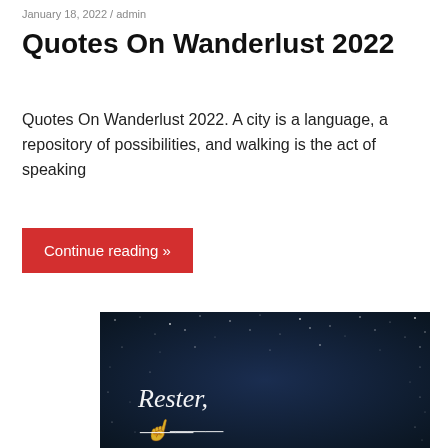January 18, 2022 / admin
Quotes On Wanderlust 2022
Quotes On Wanderlust 2022. A city is a language, a repository of possibilities, and walking is the act of speaking
Continue reading »
[Figure (photo): Night sky with stars and cursive script text reading 'Rester,' and partial text below, on a dark navy background]